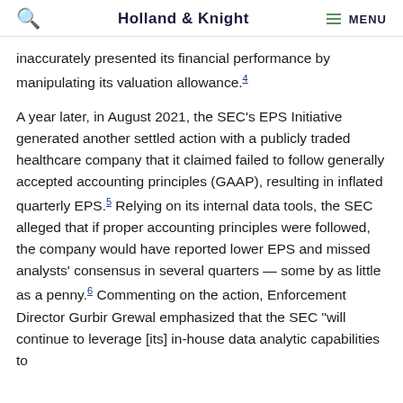Holland & Knight  MENU
inaccurately presented its financial performance by manipulating its valuation allowance.4
A year later, in August 2021, the SEC's EPS Initiative generated another settled action with a publicly traded healthcare company that it claimed failed to follow generally accepted accounting principles (GAAP), resulting in inflated quarterly EPS.5 Relying on its internal data tools, the SEC alleged that if proper accounting principles were followed, the company would have reported lower EPS and missed analysts' consensus in several quarters — some by as little as a penny.6 Commenting on the action, Enforcement Director Gurbir Grewal emphasized that the SEC "will continue to leverage [its] in-house data analytic capabilities to